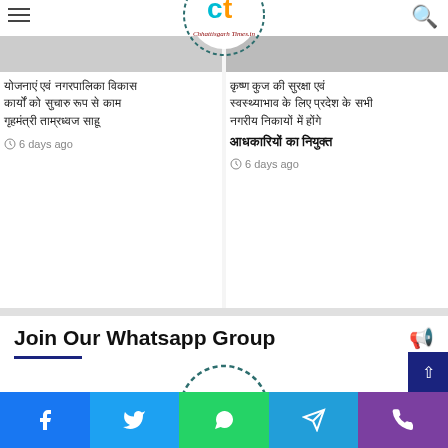Chhattisgarh Times
योजनाएं एवं नगरपालिका विकास
कार्यों को सुचारु रूप से कार्य
गृहमंत्री ताम्रध्वज साहू
6 days ago
कृष्ण कुज की सुरक्षा एवं
स्वस्थ्याभाव के लिए प्रदेश के सभी
नगरीय निकायों में होंगे
आधकारियों का नियुक्त
6 days ago
Join Our Whatsapp Group
[Figure (logo): Chhattisgarh Times logo with QR code]
Facebook | Twitter | WhatsApp | Telegram | Phone